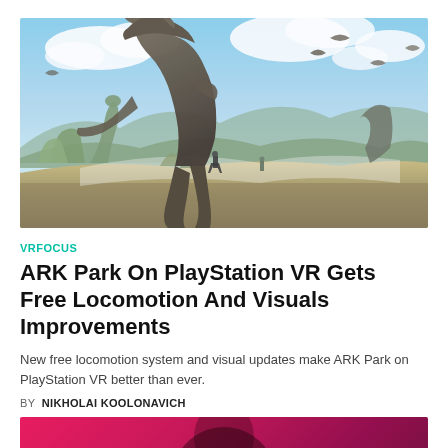[Figure (illustration): A scene from ARK Park showing a large T-Rex dinosaur roaring in the foreground with a human figure standing below it, surrounded by other dinosaurs and flying pterodactyls against a blue sky backdrop.]
VRFOCUS
ARK Park On PlayStation VR Gets Free Locomotion And Visuals Improvements
New free locomotion system and visual updates make ARK Park on PlayStation VR better than ever.
BY NIKHOLAI KOOLONAVICH
[Figure (photo): Partial image at the bottom with a pink/red background, appears to show a person in a VR-related scene.]